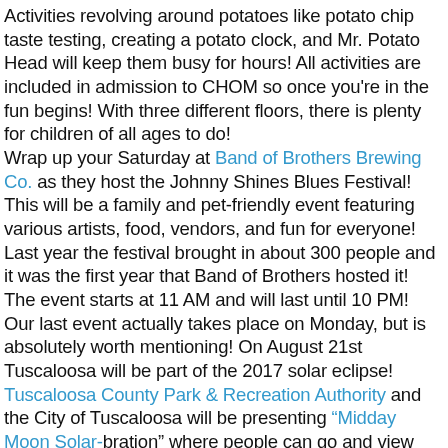Activities revolving around potatoes like potato chip taste testing, creating a potato clock, and Mr. Potato Head will keep them busy for hours! All activities are included in admission to CHOM so once you're in the fun begins! With three different floors, there is plenty for children of all ages to do!
Wrap up your Saturday at Band of Brothers Brewing Co. as they host the Johnny Shines Blues Festival! This will be a family and pet-friendly event featuring various artists, food, vendors, and fun for everyone! Last year the festival brought in about 300 people and it was the first year that Band of Brothers hosted it! The event starts at 11 AM and will last until 10 PM!
Our last event actually takes place on Monday, but is absolutely worth mentioning! On August 21st Tuscaloosa will be part of the 2017 solar eclipse! Tuscaloosa County Park & Recreation Authority and the City of Tuscaloosa will be presenting "Midday Moon Solar-bration" where people can go and view this incredible phenomenon! Since the event is expected around 1:30 it makes for the perfect lunch event and will be completed with food trucks providing a variety of lunch fare. The first 500